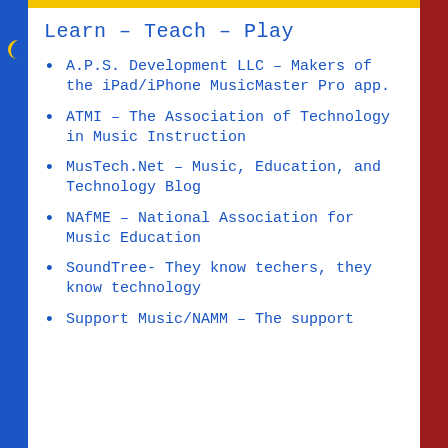Learn – Teach – Play
A.P.S. Development LLC – Makers of the iPad/iPhone MusicMaster Pro app.
ATMI – The Association of Technology in Music Instruction
MusTech.Net – Music, Education, and Technology Blog
NAfME – National Association for Music Education
SoundTree- They know techers, they know technology
Support Music/NAMM – The support